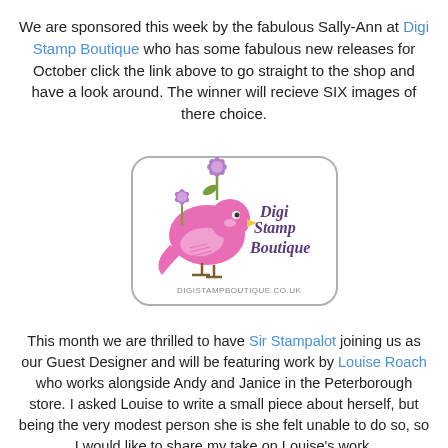We are sponsored this week by the fabulous Sally-Ann at Digi Stamp Boutique who has some fabulous new releases for October click the link above to go straight to the shop and have a look around. The winner will recieve SIX images of there choice.
[Figure (logo): Digi Stamp Boutique logo featuring a pink bird holding a purple flower, with rounded rectangle border and text 'DigiStamp Boutique' and 'digistampboutique.co.uk']
This month we are thrilled to have Sir Stampalot joining us as our Guest Designer and will be featuring work by Louise Roach who works alongside Andy and Janice in the Peterborough store. I asked Louise to write a small piece about herself, but being the very modest person she is she felt unable to do so, so I would like to share my take on Louise's work.